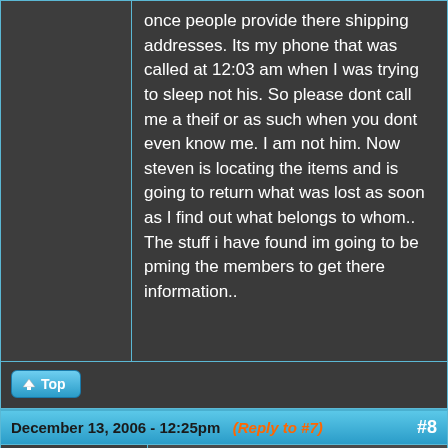once people provide there shipping addresses. Its my phone that was called at 12:03 am when I was trying to sleep not his. So please dont call me a theif or as such when you dont even know me. I am not him. Now steven is locating the items and is going to return what was lost as soon as I find out what belongs to whom.. The stuff i have found im going to be pming the members to get there information..
Top
December 13, 2006 - 12:25pm (Reply to #7) #8
protocol6v
[Figure (illustration): Robot avatar illustration - metallic robot head/body icon]
I don't want to get in the mi
I don't want to get in the middle of this, but, if he feels bad about what